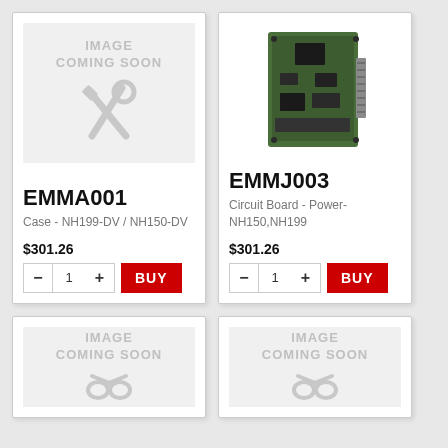[Figure (illustration): Image Coming Soon placeholder with wrench/screwdriver icon]
EMMA001
Case - NH199-DV / NH150-DV
$301.26
[Figure (photo): Circuit board product photo - green PCB with components]
EMMJ003
Circuit Board - Power-NH150,NH199
$301.26
[Figure (illustration): Image Coming Soon placeholder with wrench icon, bottom-left card]
[Figure (illustration): Image Coming Soon placeholder with wrench icon, bottom-right card]